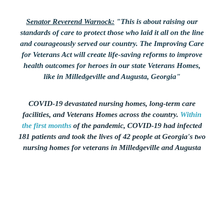Senator Reverend Warnock: "This is about raising our standards of care to protect those who laid it all on the line and courageously served our country. The Improving Care for Veterans Act will create life-saving reforms to improve health outcomes for heroes in our state Veterans Homes, like in Milledgeville and Augusta, Georgia"
COVID-19 devastated nursing homes, long-term care facilities, and Veterans Homes across the country. Within the first months of the pandemic, COVID-19 had infected 181 patients and took the lives of 42 people at Georgia's two nursing homes for veterans in Milledgeville and Augusta